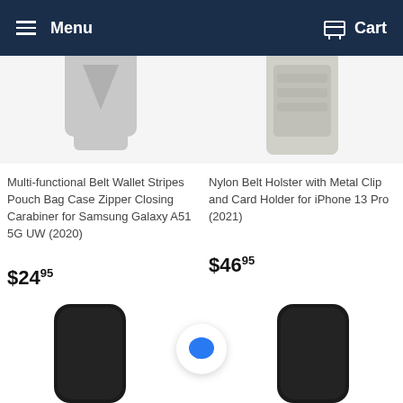Menu  Cart
[Figure (photo): Partial top view of a grey multi-functional belt wallet pouch bag case]
Multi-functional Belt Wallet Stripes Pouch Bag Case Zipper Closing Carabiner for Samsung Galaxy A51 5G UW (2020)
$24.95
[Figure (photo): Partial top view of a grey nylon belt holster with metal clip and card holder]
Nylon Belt Holster with Metal Clip and Card Holder for iPhone 13 Pro (2021)
$46.95
[Figure (photo): Bottom portion of two black phone holster cases side by side, with a chat bubble icon in the center]
[Figure (illustration): Blue speech bubble / chat icon in a white circle]